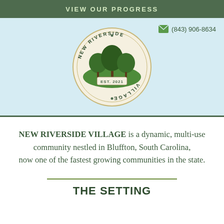VIEW OUR PROGRESS
[Figure (logo): New Riverside Village circular logo with trees and 'EST. 2021' text, on light blue background with contact info (843) 906-8634]
NEW RIVERSIDE VILLAGE is a dynamic, multi-use community nestled in Bluffton, South Carolina, now one of the fastest growing communities in the state.
THE SETTING